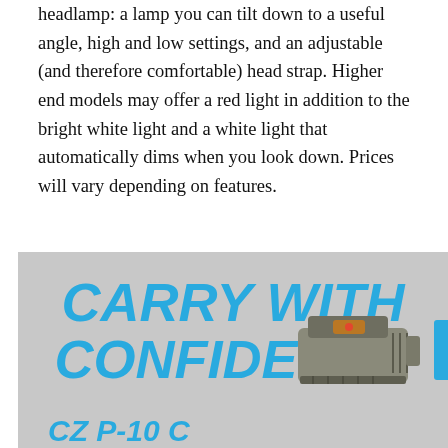headlamp: a lamp you can tilt down to a useful angle, high and low settings, and an adjustable (and therefore comfortable) head strap. Higher end models may offer a red light in addition to the bright white light and a white light that automatically dims when you look down. Prices will vary depending on features.
[Figure (illustration): Advertisement with gray background showing bold italic blue text 'CARRY WITH CONFIDENCE' and a gun/sight device image, with partial product name 'CZ P-10 C' at bottom left.]